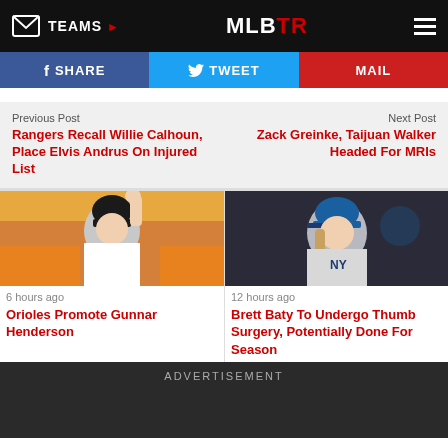TEAMS | MLBTR
f SHARE  TWEET  MAIL
Previous Post
Rangers Recall Willie Calhoun, Place Elvis Andrus On Injured List
Next Post
Zack Greinke, Taijuan Walker Headed For MRIs
[Figure (photo): Baseball player in orange Baltimore Orioles uniform raising hand, wearing batting helmet, in dugout]
6 hours ago
Orioles Promote Gunnar Henderson
[Figure (photo): Baseball pitcher in New York Mets gray uniform looking upward, wearing blue cap]
12 hours ago
Brett Baty To Undergo Thumb Surgery, Potentially Done For Season
ADVERTISEMENT